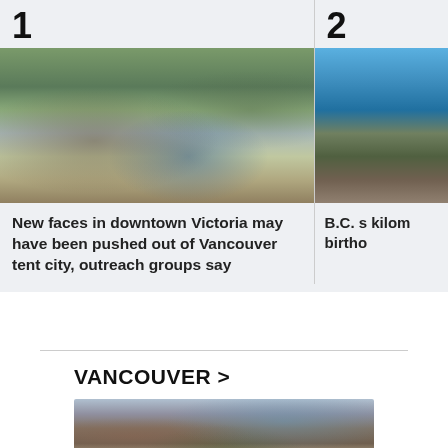1
[Figure (photo): Outdoor scene of a tent city or homeless encampment with people and tents under trees]
2
[Figure (photo): Building exterior partially visible with blue sky]
New faces in downtown Victoria may have been pushed out of Vancouver tent city, outreach groups say
B.C. s kilom birtho
VANCOUVER >
[Figure (photo): Residential buildings with autumn trees in Vancouver]